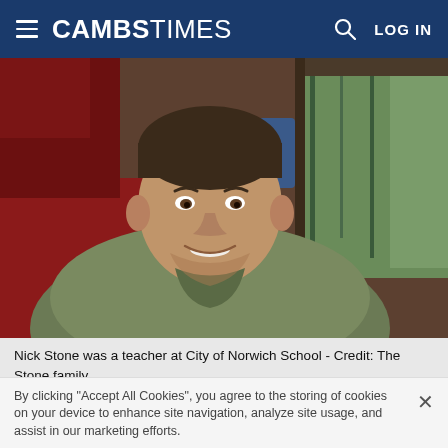CAMBS TIMES — LOG IN
[Figure (photo): A man with short dark hair wearing a green/olive sweatshirt, sitting on a train, smiling at the camera. Red seat visible behind him, window with trees outside on the right.]
Nick Stone was a teacher at City of Norwich School - Credit: The Stone family
A former Wisbech Grammar School student who would go on to help shape the lives of thousands of children
By clicking "Accept All Cookies", you agree to the storing of cookies on your device to enhance site navigation, analyze site usage, and assist in our marketing efforts.